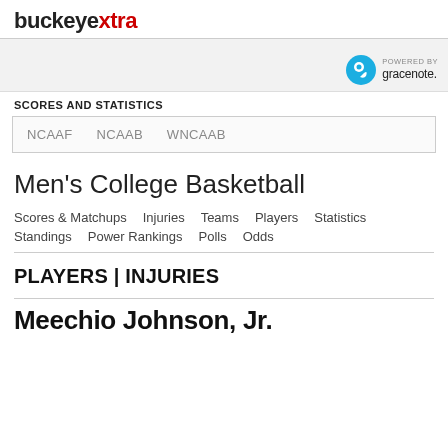buckeyextra
[Figure (logo): Gracenote logo with text 'POWERED BY gracenote.']
SCORES AND STATISTICS
NCAAF   NCAAB   WNCAAB
Men's College Basketball
Scores & Matchups
Injuries
Teams
Players
Statistics
Standings
Power Rankings
Polls
Odds
PLAYERS | INJURIES
Meechio Johnson, Jr.